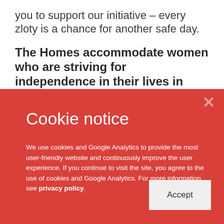you to support our initiative – every zloty is a chance for another safe day.
The Homes accommodate women who are striving for independence in their lives in Poland
Cookie notice
We use cookies and Google Analytics to provide the most user-friendly website and continuously improve the user experience. If you continue to visit the site, you agree to the use of cookies and Google Analytics. For more information see privacy policy.